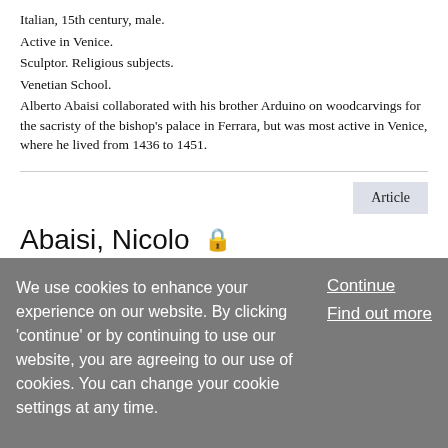Italian, 15th century, male.
Active in Venice.
Sculptor. Religious subjects.
Venetian School.
Alberto Abaisi collaborated with his brother Arduino on woodcarvings for the sacristy of the bishop's palace in Ferrara, but was most active in Venice, where he lived from 1436 to 1451.
Article
Abaisi, Nicolo 🔒
Published online: 31 October 2011
We use cookies to enhance your experience on our website. By clicking 'continue' or by continuing to use our website, you are agreeing to our use of cookies. You can change your cookie settings at any time.